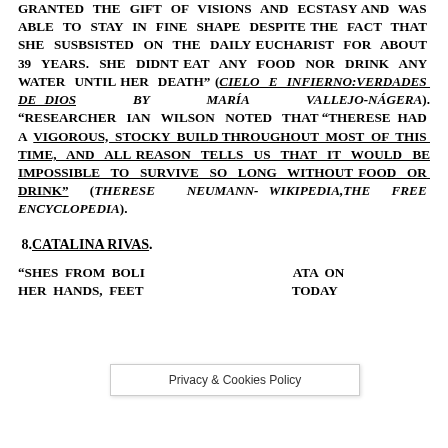GRANTED THE GIFT OF VISIONS AND ECSTASY AND WAS ABLE TO STAY IN FINE SHAPE DESPITE THE FACT THAT SHE SUSBSISTED ON THE DAILY EUCHARIST FOR ABOUT 39 YEARS. SHE DIDNT EAT ANY FOOD NOR DRINK ANY WATER UNTIL HER DEATH" (CIELO E INFIERNO:VERDADES DE DIOS BY MARÍA VALLEJO-NÁGERA). "RESEARCHER IAN WILSON NOTED THAT "THERESE HAD A VIGOROUS, STOCKY BUILD THROUGHOUT MOST OF THIS TIME, AND ALL REASON TELLS US THAT IT WOULD BE IMPOSSIBLE TO SURVIVE SO LONG WITHOUT FOOD OR DRINK" (THERESE NEUMANN-WIKIPEDIA,THE FREE ENCYCLOPEDIA).
8.CATALINA RIVAS.
"SHES FROM BOLI... ATA ON HER HANDS, FEET... TODAY